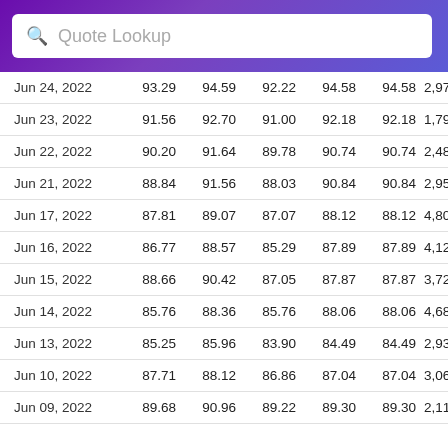Quote Lookup
| Date | Open | High | Low | Close | Adj Close | Volume |
| --- | --- | --- | --- | --- | --- | --- |
| Jun 24, 2022 | 93.29 | 94.59 | 92.22 | 94.58 | 94.58 | 2,971,600 |
| Jun 23, 2022 | 91.56 | 92.70 | 91.00 | 92.18 | 92.18 | 1,792,900 |
| Jun 22, 2022 | 90.20 | 91.64 | 89.78 | 90.74 | 90.74 | 2,482,300 |
| Jun 21, 2022 | 88.84 | 91.56 | 88.03 | 90.84 | 90.84 | 2,958,800 |
| Jun 17, 2022 | 87.81 | 89.07 | 87.07 | 88.12 | 88.12 | 4,809,200 |
| Jun 16, 2022 | 86.77 | 88.57 | 85.29 | 87.89 | 87.89 | 4,123,900 |
| Jun 15, 2022 | 88.66 | 90.42 | 87.05 | 87.87 | 87.87 | 3,726,400 |
| Jun 14, 2022 | 85.76 | 88.36 | 85.76 | 88.06 | 88.06 | 4,682,600 |
| Jun 13, 2022 | 85.25 | 85.96 | 83.90 | 84.49 | 84.49 | 2,936,700 |
| Jun 10, 2022 | 87.71 | 88.12 | 86.86 | 87.04 | 87.04 | 3,067,100 |
| Jun 09, 2022 | 89.68 | 90.96 | 89.22 | 89.30 | 89.30 | 2,114,000 |